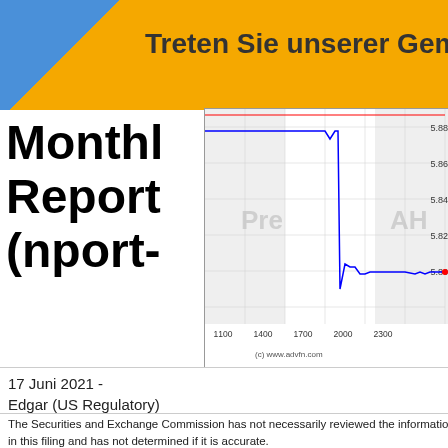[Figure (screenshot): Yellow/gold banner with blue triangular element at left and text 'Treten Sie unserer Gemeinsch...' in dark bold font]
Monthly Report (nport-
[Figure (continuous-plot): Stock price line chart showing intraday price movements between approximately 5.80 and 5.90, with x-axis labels 1100, 1400, 1700, 2000, 2300, y-axis from 5.80 to 5.90, watermark text 'Pre' and 'AH', blue step line and red horizontal line, copyright www.advfn.com]
17 Juni 2021 - Edgar (US Regulatory)
The Securities and Exchange Commission has not necessarily reviewed the information in this filing and has not determined if it is accurate or complete. The reader should not assume that the information is a...
UNITED STATES
SECURITIES AND EXCHANGE COMMISSION
WASHINGTON, DC 20549

FORM NPORT-P